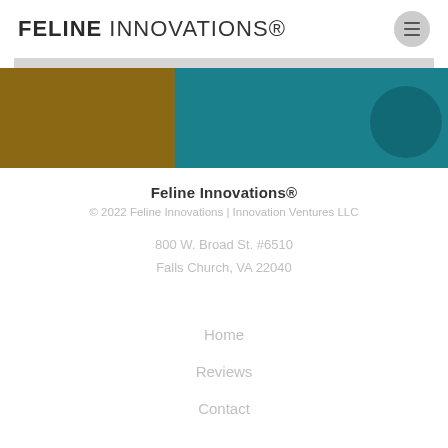FELINE INNOVATIONS®
[Figure (photo): Banner image with gold/brown left section and teal right section with circular shape on right edge, and a light gray bar at top]
Feline Innovations®
© 2022 Feline Innovations | Innovation Ventures LLC
800 W. Broad St. #6510
Falls Church, VA 22040
Home
Reviews
Contact